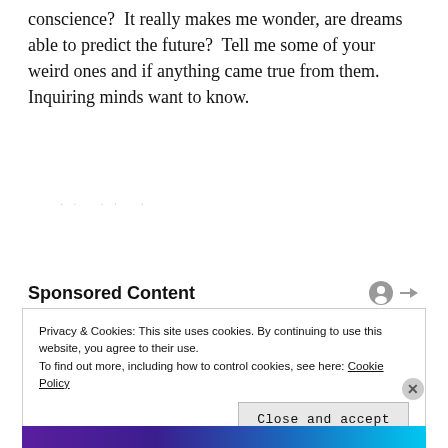conscience?  It really makes me wonder, are dreams able to predict the future?  Tell me some of your weird ones and if anything came true from them.  Inquiring minds want to know.
. .   . .   .
Sponsored Content
Privacy & Cookies: This site uses cookies. By continuing to use this website, you agree to their use.
To find out more, including how to control cookies, see here: Cookie Policy
Close and accept